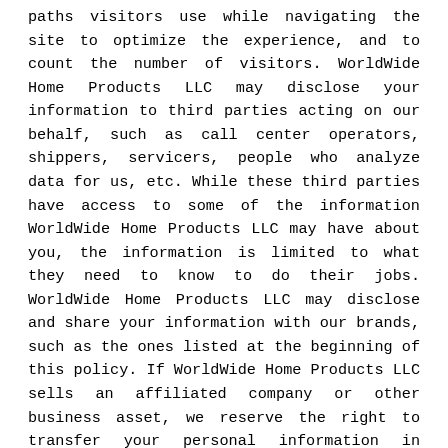paths visitors use while navigating the site to optimize the experience, and to count the number of visitors. WorldWide Home Products LLC may disclose your information to third parties acting on our behalf, such as call center operators, shippers, servicers, people who analyze data for us, etc. While these third parties have access to some of the information WorldWide Home Products LLC may have about you, the information is limited to what they need to know to do their jobs. WorldWide Home Products LLC may disclose and share your information with our brands, such as the ones listed at the beginning of this policy. If WorldWide Home Products LLC sells an affiliated company or other business asset, we reserve the right to transfer your personal information in connection with such a sale. Also, WorldWide Home Products LLC may disclose your information as necessary (1) if we determine a web site or policy violation has occurred; (2) if we believe such disclosure is necessary to identify, contract or bring legal action regarding injury or interference with the rights and property of WorldWide Home Products LLC; (3) to respond to judicial process and in cooperation with law enforcement